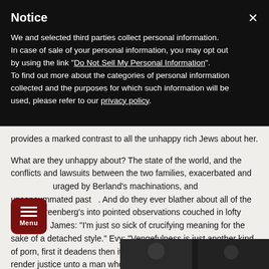Notice
We and selected third parties collect personal information. In case of sale of your personal information, you may opt out by using the link "Do Not Sell My Personal Information". To find out more about the categories of personal information collected and the purposes for which such information will be used, please refer to our privacy policy.
provides a marked contrast to all the unhappy rich Jews about her.
What are they unhappy about? The state of the world, and the conflicts and lawsuits between the two families, exacerbated and encouraged by Berland's machinations, and unconsummated past. And do they ever blather about all of the above. Greenberg's into pointed observations couched in lofty language. James: "I'm just so sick of crucifying meaning for the sake of a detached style." Evy: "Vengefulness is just another kind of porn, first it deadens then it incites." Joseph: "How do you render justice unto a man who can't even identify his petard mid-hoist?" See how talky this thing is?
There are good scenes among
[Figure (photo): Dark photograph at the bottom right of the page, partially visible]